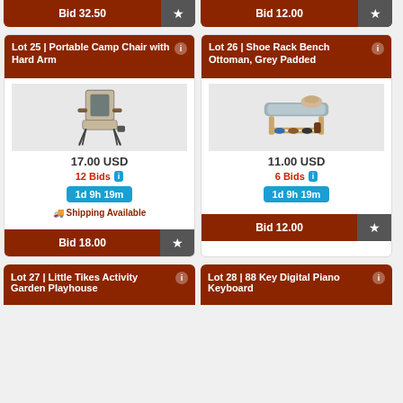Bid 32.50
Bid 12.00
Lot 25 | Portable Camp Chair with Hard Arm
[Figure (photo): Portable folding camp chair with hard arm rests, beige and brown fabric]
17.00 USD
12 Bids
1d 9h 19m
Shipping Available
Bid 18.00
Lot 26 | Shoe Rack Bench Ottoman, Grey Padded
[Figure (photo): Grey padded shoe rack bench ottoman with wooden legs and shoe shelf below, with handbag on top]
11.00 USD
6 Bids
1d 9h 19m
Bid 12.00
Lot 27 | Little Tikes Activity Garden Playhouse
Lot 28 | 88 Key Digital Piano Keyboard